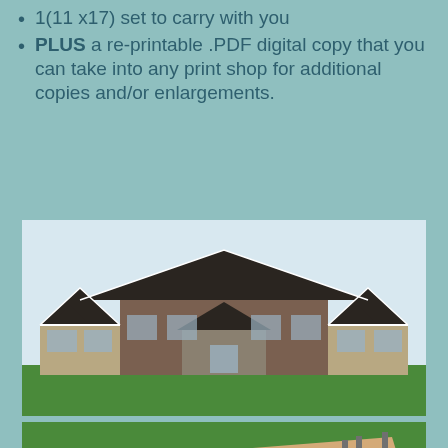1(11 x17) set to carry with you
PLUS a re-printable .PDF digital copy that you can take into any print shop for additional copies and/or enlargements.
[Figure (illustration): 3D rendered exterior view of a large two-story craftsman-style house with dark roof, brick and stone facade, multiple gables and attached garage wings, set on green grass]
[Figure (engineering-diagram): Isometric 3D floor plan view of a large house showing room layouts in tan/beige colors on a green background, with interior walls, windows and room details visible from above at an angle]